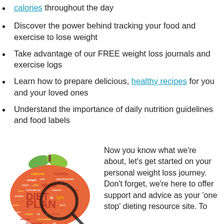calories throughout the day
Discover the power behind tracking your food and exercise to lose weight
Take advantage of our FREE weight loss journals and exercise logs
Learn how to prepare delicious, healthy recipes for you and your loved ones
Understand the importance of daily nutrition guidelines and food labels
[Figure (illustration): Word cloud in the shape of an apple with a magnifying glass overlay, featuring diet and nutrition related words including DIET PLAN, obese, natural, healthy, calories, fit, exercise, food, weight, carbohydrate, vitamin, protein, confidence, slim, sport, life, snack, beauty, fat, and more in various colors (red, orange, green).]
Now you know what we’re about, let’s get started on your personal weight loss journey. Don’t forget, we’re here to offer support and advice as your ‘one stop’ dieting resource site. To